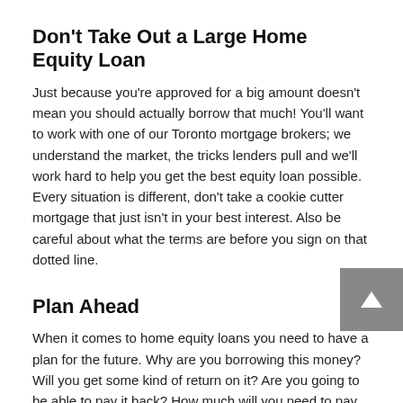Don't Take Out a Large Home Equity Loan
Just because you're approved for a big amount doesn't mean you should actually borrow that much! You'll want to work with one of our Toronto mortgage brokers; we understand the market, the tricks lenders pull and we'll work hard to help you get the best equity loan possible. Every situation is different, don't take a cookie cutter mortgage that just isn't in your best interest. Also be careful about what the terms are before you sign on that dotted line.
Plan Ahead
When it comes to home equity loans you need to have a plan for the future. Why are you borrowing this money? Will you get some kind of return on it? Are you going to be able to pay it back? How much will you need to pay each month to pay back your home equity loan? If you don't know the answers to these questions one of our Canada mortgage brokers can help. We have a lot of experience when it comes to home